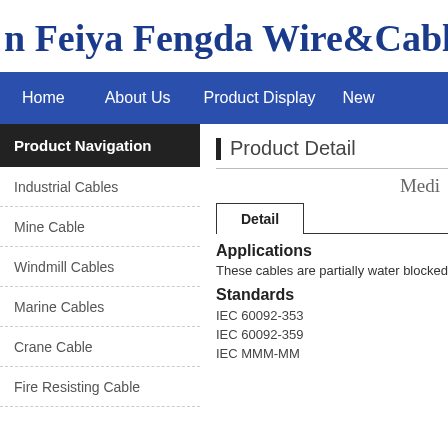n Feiya Fengda Wire&Cable
Home   About Us   Product Display   New
Product Navigation
Product Detail
Industrial Cables
Mine Cable
Windmill Cables
Marine Cables
Crane Cable
Fire Resisting Cable
Medi
Applications
These cables are partially water blocked
Standards
IEC 60092-353
IEC 60092-359
IEC MMM-MM